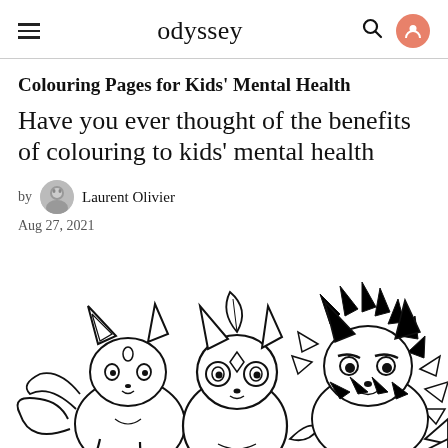odyssey
Colouring Pages for Kids' Mental Health
Have you ever thought of the benefits of colouring to kids' mental health
by Laurent Olivier
Aug 27, 2021
[Figure (illustration): Coloring page illustration featuring Pokemon characters (Espeon, Leafeon, and Jolteon) drawn in black and white outline style suitable for coloring]